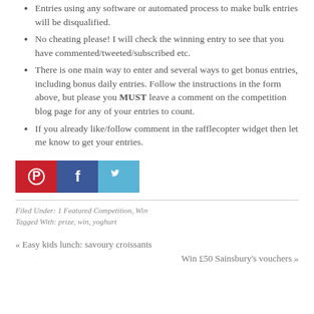Entries using any software or automated process to make bulk entries will be disqualified.
No cheating please! I will check the winning entry to see that you have commented/tweeted/subscribed etc.
There is one main way to enter and several ways to get bonus entries, including bonus daily entries. Follow the instructions in the form above, but please you MUST leave a comment on the competition blog page for any of your entries to count.
If you already like/follow comment in the rafflecopter widget then let me know to get your entries.
[Figure (infographic): Social media share buttons: Pinterest (red), Facebook (dark blue), Twitter (light blue)]
Filed Under: 1 Featured Competition, Win
Tagged With: prize, win, yoghurt
« Easy kids lunch: savoury croissants
Win £50 Sainsbury's vouchers »